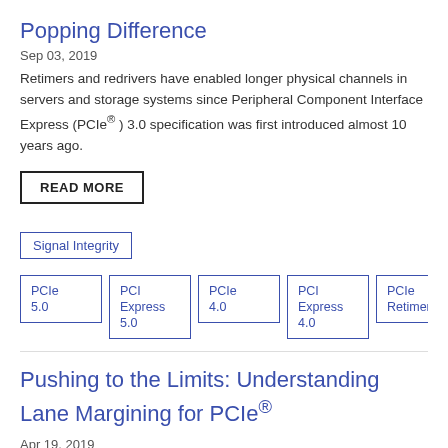Popping Difference
Sep 03, 2019
Retimers and redrivers have enabled longer physical channels in servers and storage systems since Peripheral Component Interface Express (PCIe® ) 3.0 specification was first introduced almost 10 years ago.
READ MORE
Signal Integrity
PCIe 5.0
PCI Express 5.0
PCIe 4.0
PCI Express 4.0
PCIe Retimer
PCIe Redriver
Pushing to the Limits: Understanding Lane Margining for PCIe®
Apr 19, 2019